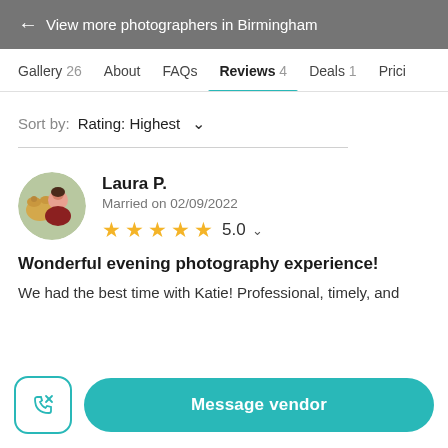← View more photographers in Birmingham
Gallery 26  About  FAQs  Reviews 4  Deals 1  Pricing
Sort by: Rating: Highest
Laura P.
Married on 02/09/2022
★★★★★ 5.0
Wonderful evening photography experience!
We had the best time with Katie! Professional, timely, and
Message vendor